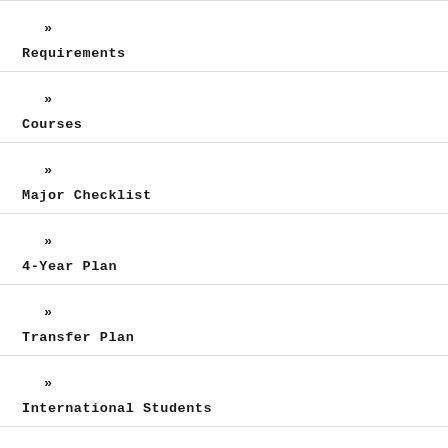» Requirements
» Courses
» Major Checklist
» 4-Year Plan
» Transfer Plan
» International Students
» Theatre Productions & Performances
» Theatre Minor
» Career Opportunities
2022-2023 Performing Arts Season
Facilities
Faculty & Staff